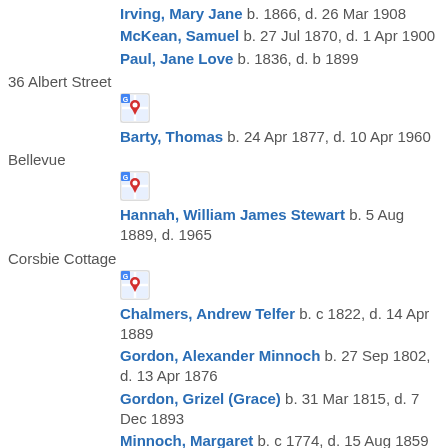Irving, Mary Jane  b. 1866, d. 26 Mar 1908
McKean, Samuel  b. 27 Jul 1870, d. 1 Apr 1900
Paul, Jane Love  b. 1836, d. b 1899
36 Albert Street
[Figure (other): Google Maps icon/link for 36 Albert Street]
Barty, Thomas  b. 24 Apr 1877, d. 10 Apr 1960
Bellevue
[Figure (other): Google Maps icon/link for Bellevue]
Hannah, William James Stewart  b. 5 Aug 1889, d. 1965
Corsbie Cottage
[Figure (other): Google Maps icon/link for Corsbie Cottage]
Chalmers, Andrew Telfer  b. c 1822, d. 14 Apr 1889
Gordon, Alexander Minnoch  b. 27 Sep 1802, d. 13 Apr 1876
Gordon, Grizel (Grace)  b. 31 Mar 1815, d. 7 Dec 1893
Minnoch, Margaret  b. c 1774, d. 15 Aug 1859